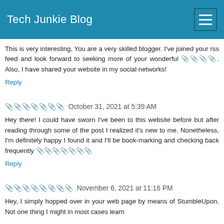Tech Junkie Blog
This is very interesting, You are a very skilled blogger. I've joined your rss feed and look forward to seeking more of your wonderful 🔗🔗🔗🔗. Also, I have shared your website in my social networks!
Reply
🔗🔗🔗🔗🔗🔗🔗  October 31, 2021 at 5:39 AM
Hey there! I could have sworn I've been to this website before but after reading through some of the post I realized it's new to me. Nonetheless, I'm definitely happy I found it and I'll be book-marking and checking back frequently 🔗🔗🔗🔗🔗🔗🔗
Reply
🔗🔗🔗🔗🔗🔗🔗🔗  November 6, 2021 at 11:16 PM
Hey, I simply hopped over in your web page by means of StumbleUpon. Not one thing I might in most cases learn